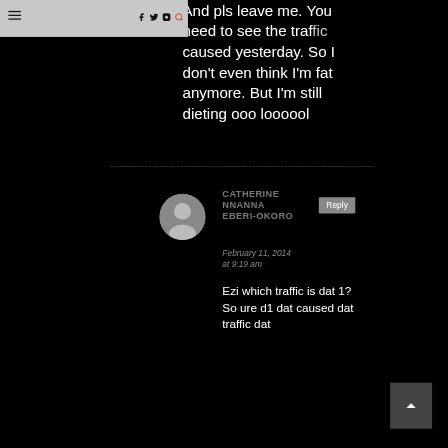Menu / Social icons (Facebook, Twitter, Instagram, Search)
And pls leave me. You need to see the traffic I caused yesterday. So I don't even think I'm fat anymore. But I'm still dieting ooo loooool
CATHERINE NNANNA EBERI-OKORO
February 11, 2014 at 9:19 am
Ezi which traffic is dat 1? So ure d1 dat caused dat traffic dat